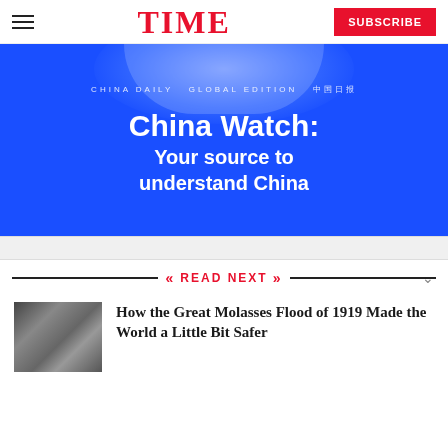TIME | SUBSCRIBE
[Figure (illustration): China Watch advertisement banner with blue background showing 'China Watch: Your source to understand China' with China Daily Global Edition branding]
READ NEXT
[Figure (photo): Black and white historical photo related to the Great Molasses Flood of 1919]
How the Great Molasses Flood of 1919 Made the World a Little Bit Safer